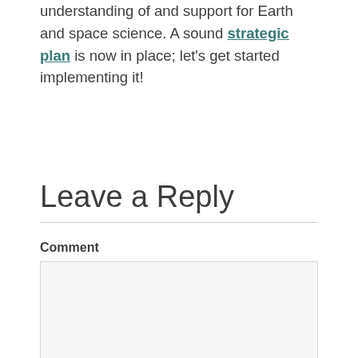understanding of and support for Earth and space science. A sound strategic plan is now in place; let's get started implementing it!
Leave a Reply
Comment
Name